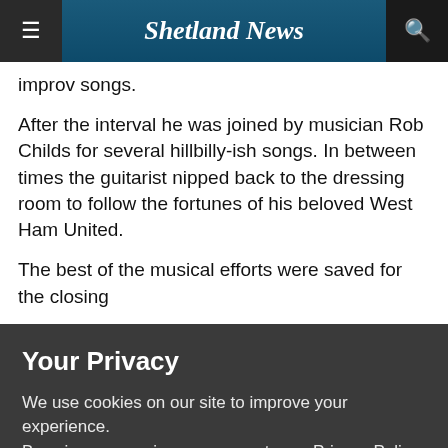Shetland News
improv songs.
After the interval he was joined by musician Rob Childs for several hillbilly-ish songs. In between times the guitarist nipped back to the dressing room to follow the fortunes of his beloved West Ham United.
The best of the musical efforts were saved for the closing
Your Privacy
We use cookies on our site to improve your experience.
By using our service, you agree to our Privacy Policy and Cookie Policy.
I'm OK with that